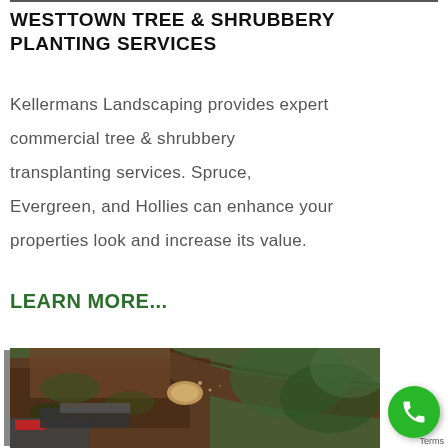WESTTOWN TREE & SHRUBBERY PLANTING SERVICES
Kellermans Landscaping provides expert commercial tree & shrubbery transplanting services. Spruce, Evergreen, and Hollies can enhance your properties look and increase its value.
LEARN MORE...
[Figure (photo): Close-up photo of a person using a chainsaw to cut a large tree branch outdoors]
Terms